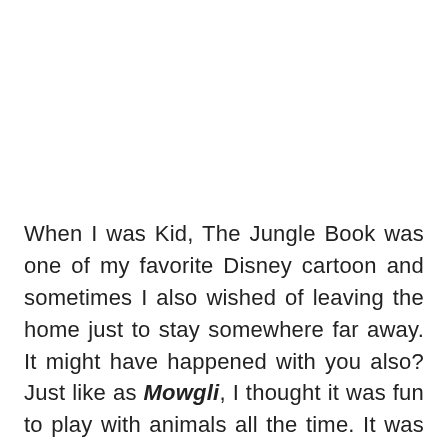When I was Kid, The Jungle Book was one of my favorite Disney cartoon and sometimes I also wished of leaving the home just to stay somewhere far away. It might have happened with you also? Just like as Mowgli, I thought it was fun to play with animals all the time. It was just I wished, but what if it really happens?  There are some kids in the world, who have been living with wild animals since so long. Exactly, you can say that they are raised by wild animals.